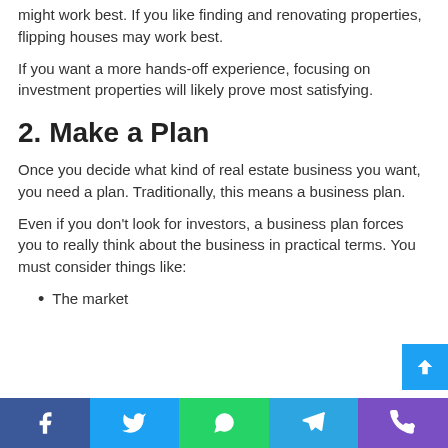might work best. If you like finding and renovating properties, flipping houses may work best.
If you want a more hands-off experience, focusing on investment properties will likely prove most satisfying.
2. Make a Plan
Once you decide what kind of real estate business you want, you need a plan. Traditionally, this means a business plan.
Even if you don't look for investors, a business plan forces you to really think about the business in practical terms. You must consider things like:
The market